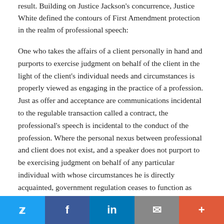result. Building on Justice Jackson's concurrence, Justice White defined the contours of First Amendment protection in the realm of professional speech:
One who takes the affairs of a client personally in hand and purports to exercise judgment on behalf of the client in the light of the client's individual needs and circumstances is properly viewed as engaging in the practice of a profession. Just as offer and acceptance are communications incidental to the regulable transaction called a contract, the professional's speech is incidental to the conduct of the profession. Where the personal nexus between professional and client does not exist, and a speaker does not purport to be exercising judgment on behalf of any particular individual with whose circumstances he is directly acquainted, government regulation ceases to function as legitimate regulation of professional practice with only incidental
Twitter | Facebook | LinkedIn | Email | More